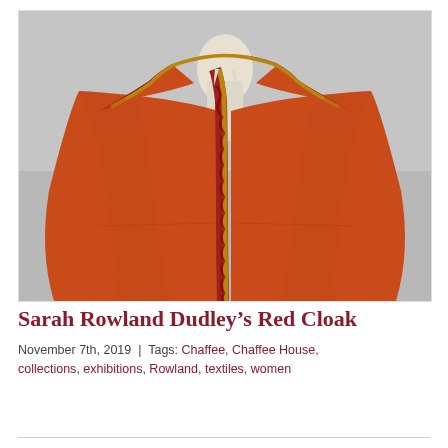[Figure (photo): A red-orange woolen cloak displayed on a mannequin bust, featuring decorative gold and crimson trim along the front opening and collar edge, photographed against a light gray background.]
Sarah Rowland Dudley's Red Cloak
November 7th, 2019 | Tags: Chaffee, Chaffee House, collections, exhibitions, Rowland, textiles, women